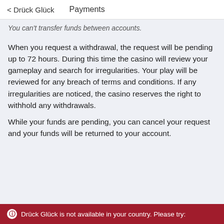< Drück Glück    Payments
You can't transfer funds between accounts.
When you request a withdrawal, the request will be pending up to 72 hours. During this time the casino will review your gameplay and search for irregularities. Your play will be reviewed for any breach of terms and conditions. If any irregularities are noticed, the casino reserves the right to withhold any withdrawals.
While your funds are pending, you can cancel your request and your funds will be returned to your account.
Drück Glück is not available in your country. Please try: